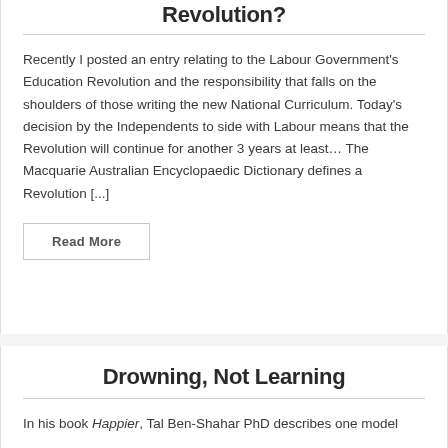Revolution?
Recently I posted an entry relating to the Labour Government's Education Revolution and the responsibility that falls on the shoulders of those writing the new National Curriculum. Today's decision by the Independents to side with Labour means that the Revolution will continue for another 3 years at least… The Macquarie Australian Encyclopaedic Dictionary defines a Revolution [...]
Read More
Drowning, Not Learning
In his book Happier, Tal Ben-Shahar PhD describes one model